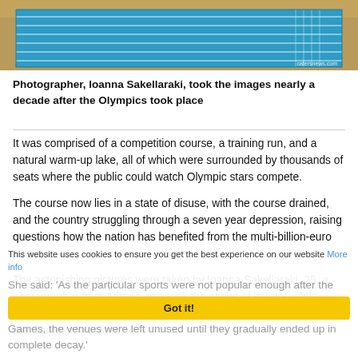[Figure (photo): Aerial or wide-angle photo of an Olympic swimming pool facility with blue water lanes and sandy/dirt surroundings, with 'catersnews.com' watermark]
Photographer, Ioanna Sakellaraki, took the images nearly a decade after the Olympics took place
It was comprised of a competition course, a training run, and a natural warm-up lake, all of which were surrounded by thousands of seats where the public could watch Olympic stars compete.
The course now lies in a state of disuse, with the course drained, and the country struggling through a seven year depression, raising questions how the nation has benefited from the multi-billion-euro event.
The astonishing pictures were taken by Ioanna Sakellaraki, 25, a photographer from Athens who took the series of images while exploring the Olympic sports complexes in 2013 – a decade after the Games took place.
She said: 'As the particular sports were not popular enough after the Games, the venues were left unused until they gradually ended up in complete decay.'